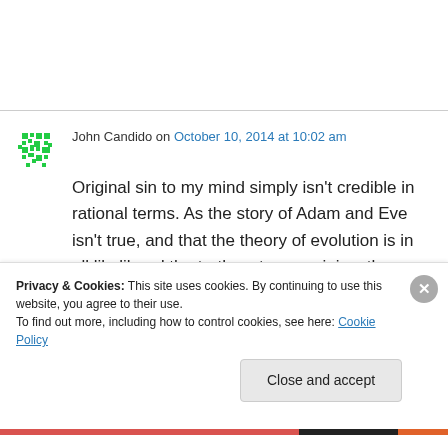John Candido on October 10, 2014 at 10:02 am
Original sin to my mind simply isn't credible in rational terms. As the story of Adam and Eve isn't true, and that the theory of evolution is in all likelihood the truth as to our origins, the dogma of original sin is founded on a very shaky foundation. The presentation of such a dogma
Privacy & Cookies: This site uses cookies. By continuing to use this website, you agree to their use. To find out more, including how to control cookies, see here: Cookie Policy
Close and accept